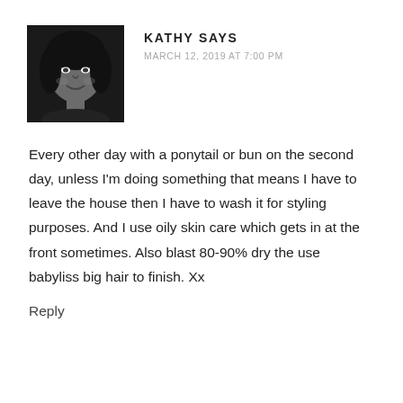[Figure (photo): Black and white portrait photo of a woman smiling, facing slightly to the right]
KATHY SAYS
MARCH 12, 2019 AT 7:00 PM
Every other day with a ponytail or bun on the second day, unless I'm doing something that means I have to leave the house then I have to wash it for styling purposes. And I use oily skin care which gets in at the front sometimes. Also blast 80-90% dry the use babyliss big hair to finish. Xx
Reply